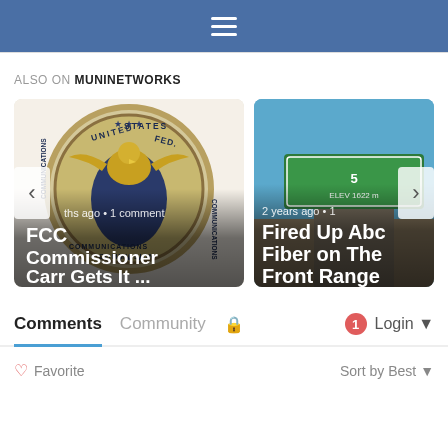Navigation menu header with hamburger icon
ALSO ON MUNINETWORKS
[Figure (screenshot): Carousel with two article cards. Left card shows FCC seal (United States Federal Communications Commission) with text 'ths ago • 1 comment' and title 'FCC Commissioner Carr Gets It ...'. Right card shows a road sign against blue sky with text '2 years ago • 1' and title 'Fired Up Abc Fiber on The Front Range'. Navigation arrows on left and right sides.]
Comments	Community	🔒	1 Login ▾
♡ Favorite	Sort by Best ▾